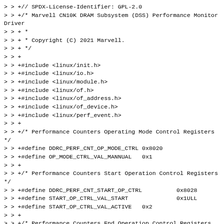> > +// SPDX-License-Identifier: GPL-2.0
> > +/* Marvell CN10K DRAM Subsystem (DSS) Performance Monitor Driver
> > + *
> > + * Copyright (C) 2021 Marvell.
> > + */
> > +
> > +#include <linux/init.h>
> > +#include <linux/io.h>
> > +#include <linux/module.h>
> > +#include <linux/of.h>
> > +#include <linux/of_address.h>
> > +#include <linux/of_device.h>
> > +#include <linux/perf_event.h>
> > +
> > +/* Performance Counters Operating Mode Control Registers */
> > +#define DDRC_PERF_CNT_OP_MODE_CTRL 0x8020
> > +#define OP_MODE_CTRL_VAL_MANNUAL   0x1
> > +
> > +/* Performance Counters Start Operation Control Registers */
> > +#define DDRC_PERF_CNT_START_OP_CTRL          0x8028
> > +#define START_OP_CTRL_VAL_START              0x1ULL
> > +#define START_OP_CTRL_VAL_ACTIVE   0x2
> > +
> > +/* Performance Counters End Operation Control Registers */
> > +#define DDRC_PERF_CNT_END_OP_CTRL  0x8030
> > +#define END_OP_CTRL_VAL_END                  0x1ULL